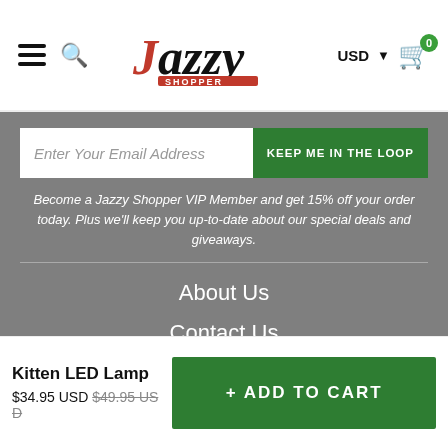Jazzy Shopper – navigation header with hamburger menu, search, logo, USD currency selector, and cart with 0 items
[Figure (screenshot): Email signup bar: text input 'Enter Your Email Address' and green button 'KEEP ME IN THE LOOP']
Become a Jazzy Shopper VIP Member and get 15% off your order today. Plus we'll keep you up-to-date about our special deals and giveaways.
About Us
Contact Us
Privacy Policy
Refund Policy
Kitten LED Lamp
$34.95 USD $49.95 USD
[Figure (other): Green Add to Cart button with + ADD TO CART text]